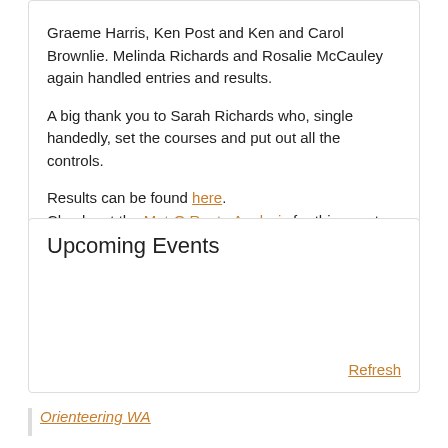Graeme Harris, Ken Post and Ken and Carol Brownlie. Melinda Richards and Rosalie McCauley again handled entries and results.

A big thank you to Sarah Richards who, single handedly, set the courses and put out all the controls.

Results can be found here. Check out the MetrO Route Analysis for this event.
Upcoming Events
Refresh
Orienteering WA